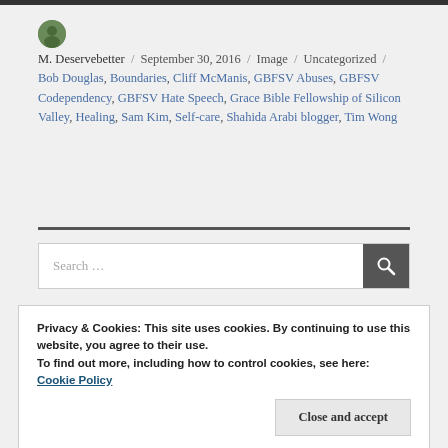M. Deservebetter / September 30, 2016 / Image / Uncategorized / Bob Douglas, Boundaries, Cliff McManis, GBFSV Abuses, GBFSV Codependency, GBFSV Hate Speech, Grace Bible Fellowship of Silicon Valley, Healing, Sam Kim, Self-care, Shahida Arabi blogger, Tim Wong
Search ...
Privacy & Cookies: This site uses cookies. By continuing to use this website, you agree to their use.
To find out more, including how to control cookies, see here:
Cookie Policy
Close and accept